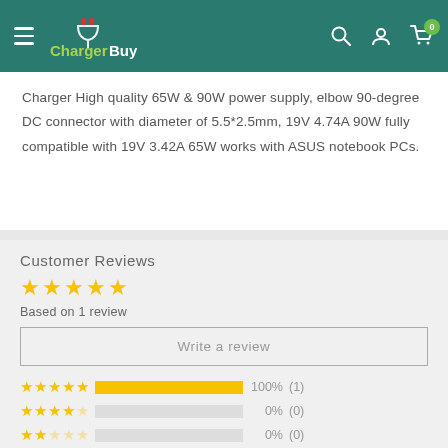ChargerBuy — navigation header with logo, search, user, and cart icons
Charger High quality 65W & 90W power supply, elbow 90-degree DC connector with diameter of 5.5*2.5mm, 19V 4.74A 90W fully compatible with 19V 3.42A 65W works with ASUS notebook PCs.
Customer Reviews
Based on 1 review
Write a review
[Figure (infographic): Star rating bars: 5-star 100% (1), 4-star 0% (0), 3-star 0% (0)]